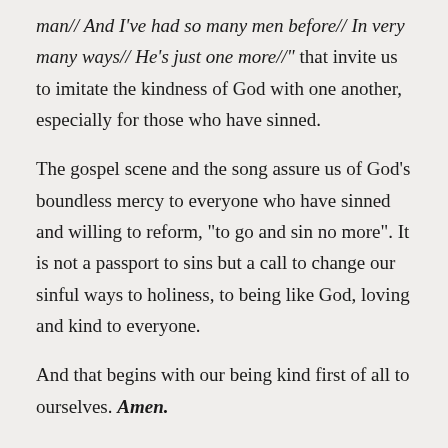man// And I've had so many men before// In very many ways// He's just one more//" that invite us to imitate the kindness of God with one another, especially for those who have sinned.
The gospel scene and the song assure us of God's boundless mercy to everyone who have sinned and willing to reform, "to go and sin no more". It is not a passport to sins but a call to change our sinful ways to holiness, to being like God, loving and kind to everyone.
And that begins with our being kind first of all to ourselves. Amen.
*We have no intentions of infringing into the copyright of this song and its author. It was set to...